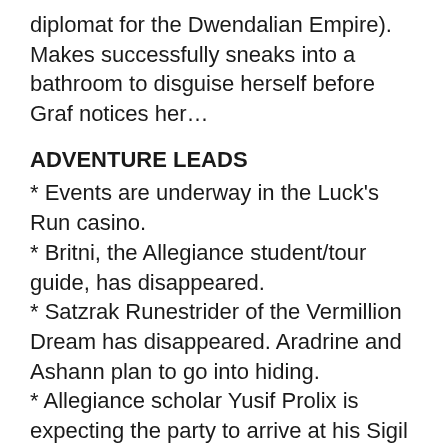diplomat for the Dwendalian Empire). Makes successfully sneaks into a bathroom to disguise herself before Graf notices her…
ADVENTURE LEADS
* Events are underway in the Luck's Run casino.
* Britni, the Allegiance student/tour guide, has disappeared.
* Satzrak Runestrider of the Vermillion Dream has disappeared. Aradrine and Ashann plan to go into hiding.
* Allegiance scholar Yusif Prolix is expecting the party to arrive at his Sigil District apartment that night.
* The party has agreed to appear before an Allegiance of Allsight research group the following day.